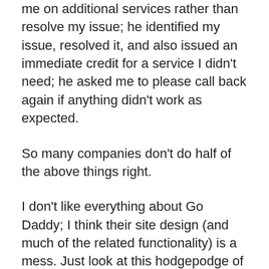me on additional services rather than resolve my issue; he identified my issue, resolved it, and also issued an immediate credit for a service I didn't need; he asked me to please call back again if anything didn't work as expected.
So many companies don't do half of the above things right.
I don't like everything about Go Daddy; I think their site design (and much of the related functionality) is a mess. Just look at this hodgepodge of content that's mashed together like a cross between a squatter site and some type of adult portal.  Go Daddy also doesn't seamlessly integrate their various services.  For example, domain management, hosting management, and basic website builders are all considered separate accounts and